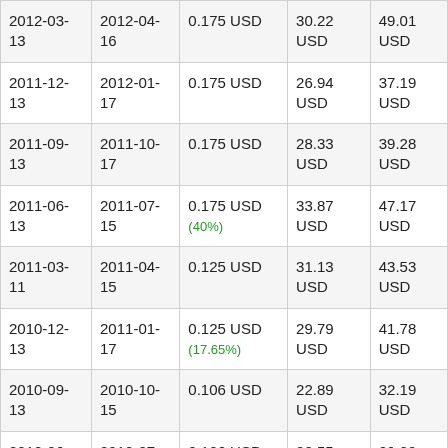| 2012-03-13 | 2012-04-16 | 0.175 USD | 30.22 USD | 49.01 USD |
| 2011-12-13 | 2012-01-17 | 0.175 USD | 26.94 USD | 37.19 USD |
| 2011-09-13 | 2011-10-17 | 0.175 USD | 28.33 USD | 39.28 USD |
| 2011-06-13 | 2011-07-15 | 0.175 USD (40%) | 33.87 USD | 47.17 USD |
| 2011-03-11 | 2011-04-15 | 0.125 USD | 31.13 USD | 43.53 USD |
| 2010-12-13 | 2011-01-17 | 0.125 USD (17.65%) | 29.79 USD | 41.78 USD |
| 2010-09-13 | 2010-10-15 | 0.106 USD | 22.89 USD | 32.19 USD |
| 2010-06-11 | 2010-07-15 | 0.106 USD (-97.02%) | 20.55 USD | 29.00 USD |